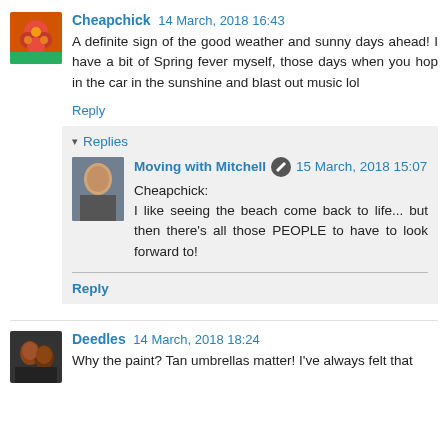Cheapchick  14 March, 2018 16:43
A definite sign of the good weather and sunny days ahead! I have a bit of Spring fever myself, those days when you hop in the car in the sunshine and blast out music lol
Reply
Replies
Moving with Mitchell  15 March, 2018 15:07
Cheapchick:
I like seeing the beach come back to life... but then there's all those PEOPLE to have to look forward to!
Reply
Deedles  14 March, 2018 18:24
Why the paint? Tan umbrellas matter! I've always felt that